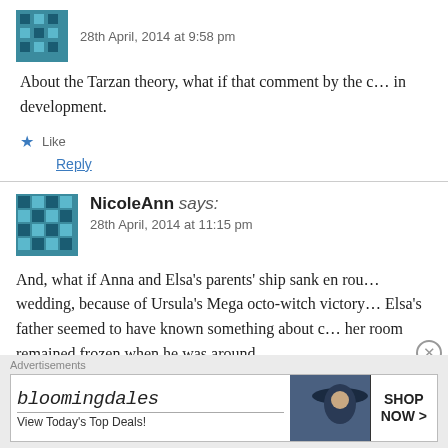28th April, 2014 at 9:58 pm
About the Tarzan theory, what if that comment by the c… in development.
Like
Reply
NicoleAnn says:
28th April, 2014 at 11:15 pm
And, what if Anna and Elsa's parents' ship sank en rou… wedding, because of Ursula's Mega octo-witch victory… Elsa's father seemed to have known something about c… her room remained frozen when he was around.
Advertisements
[Figure (other): Bloomingdale's advertisement banner: 'bloomingdales - View Today's Top Deals!' with a woman wearing a blue hat and a 'SHOP NOW >' button]